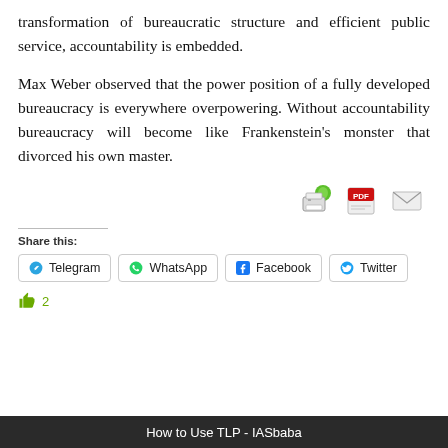transformation of bureaucratic structure and efficient public service, accountability is embedded.
Max Weber observed that the power position of a fully developed bureaucracy is everywhere overpowering. Without accountability bureaucracy will become like Frankenstein's monster that divorced his own master.
[Figure (other): Print, PDF, and Email icon buttons in a row]
Share this:
Telegram  WhatsApp  Facebook  Twitter (share buttons)
2 (likes)
How to Use TLP - IASbaba